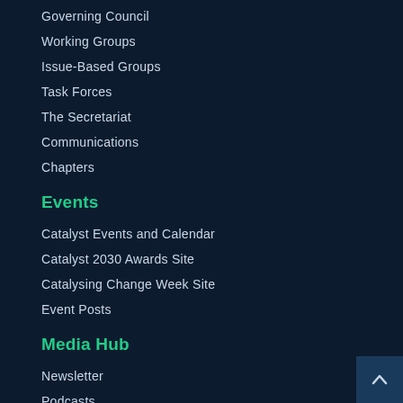Governing Council
Working Groups
Issue-Based Groups
Task Forces
The Secretariat
Communications
Chapters
Events
Catalyst Events and Calendar
Catalyst 2030 Awards Site
Catalysing Change Week Site
Event Posts
Media Hub
Newsletter
Podcasts
Catalyst News